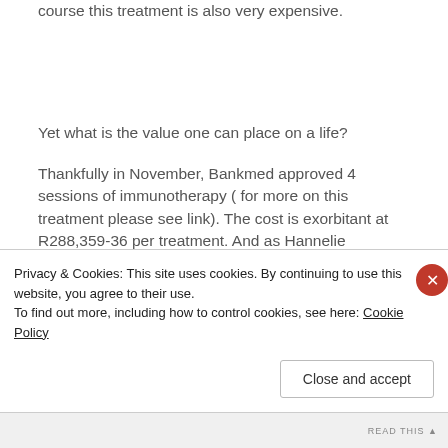course this treatment is also very expensive.
Yet what is the value one can place on a life?
Thankfully in November, Bankmed approved 4 sessions of immunotherapy ( for more on this treatment please see link). The cost is exorbitant at R288,359-36 per treatment. And as Hannelie
Privacy & Cookies: This site uses cookies. By continuing to use this website, you agree to their use.
To find out more, including how to control cookies, see here: Cookie Policy
Close and accept
READ THIS ▲